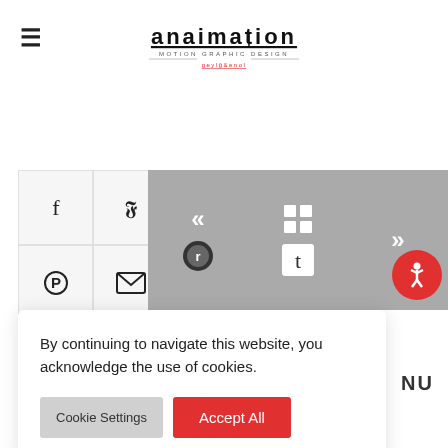[Figure (logo): anaimation logo with 'MOTION GRAPHIC DESIGN' subtitle and red underline text]
[Figure (screenshot): Social sharing icons: Facebook, Twitter, LinkedIn, Google+, Reddit, Tumblr, Pinterest, Email in grey square buttons]
[Figure (screenshot): Navigation buttons: previous (<<), grid (4-squares), next (>>) in dark grey]
[Figure (screenshot): Red circle accessibility icon (wheelchair symbol) on right side]
By continuing to navigate this website, you acknowledge the use of cookies.
[Figure (screenshot): Cookie Settings button (grey) and Accept All button (red)]
NU